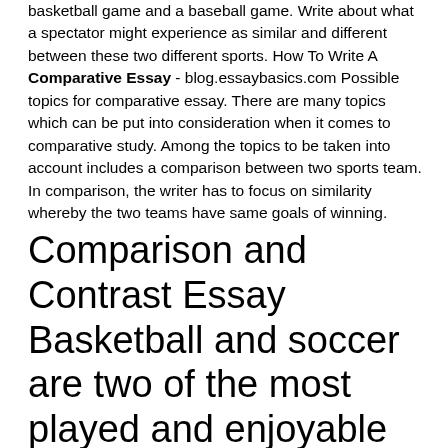basketball game and a baseball game. Write about what a spectator might experience as similar and different between these two different sports. How To Write A Comparative Essay - blog.essaybasics.com Possible topics for comparative essay. There are many topics which can be put into consideration when it comes to comparative study. Among the topics to be taken into account includes a comparison between two sports team. In comparison, the writer has to focus on similarity whereby the two teams have same goals of winning.
Comparison and Contrast Essay Basketball and soccer are two of the most played and enjoyable sports in the world. They both have professional leagues that attract millions of audience.